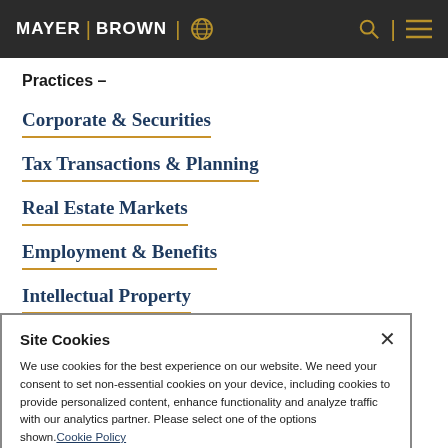MAYER | BROWN
Practices –
Corporate & Securities
Tax Transactions & Planning
Real Estate Markets
Employment & Benefits
Intellectual Property
Government Transactions
Site Cookies
We use cookies for the best experience on our website. We need your consent to set non-essential cookies on your device, including cookies to provide personalized content, enhance functionality and analyze traffic with our analytics partner. Please select one of the options shown. Cookie Policy